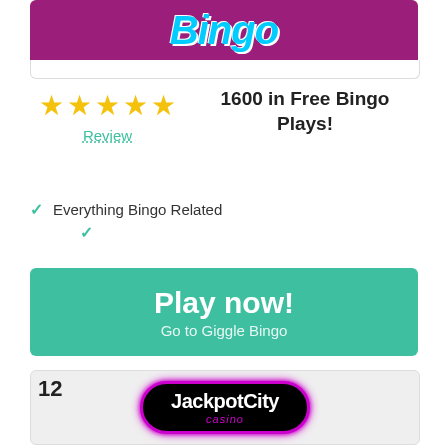[Figure (logo): Giggle Bingo logo on purple/pink background, partial view showing colorful text]
[Figure (other): 5 gold star rating]
Review
1600 in Free Bingo Plays!
✓ Everything Bingo Related
✓
Play now!
Go to Giggle Bingo
12
[Figure (logo): JackpotCity Casino logo - black background with pink/purple neon diamond shape border, white text JackpotCity and pink italic casino text]
[Figure (other): 5 gold star rating]
Review
80 Millions in Jackpots